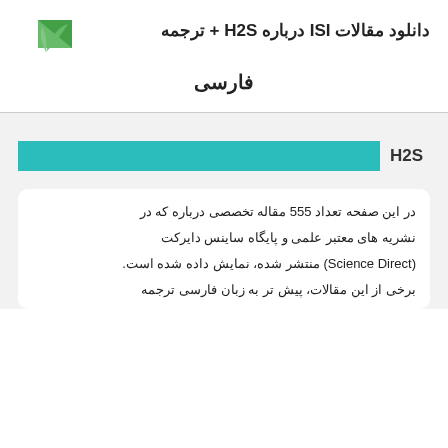دانلود مقالات ISI درباره H2S + ترجمه
فارسی
[Figure (infographic): Teal horizontal bar labeled H2S on a light gray background]
در این صفحه تعداد 555 مقاله تخصصی درباره که در نشریه های معتبر علمی و پایگاه ساینس دایرکت (Science Direct) منتشر شده، نمایش داده شده است. برخی از این مقالات، پیش تر به زبان فارسی ترجمه